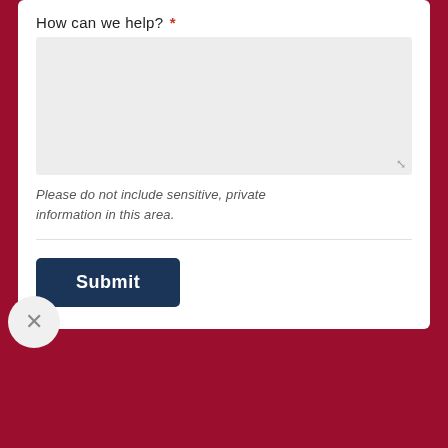How can we help? *
Please do not include sensitive, private information in this area.
Submit
Get the assurance you need.
Get a Quote
Contact Us